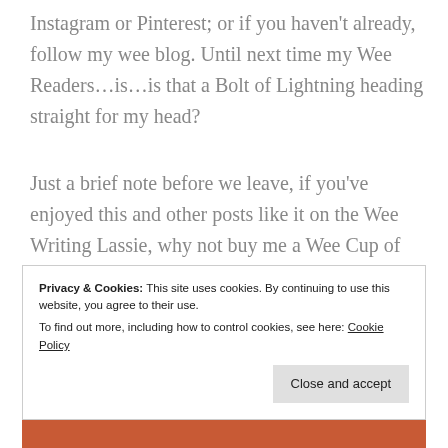Instagram or Pinterest; or if you haven't already, follow my wee blog. Until next time my Wee Readers…is…is that a Bolt of Lightning heading straight for my head?
Just a brief note before we leave, if you've enjoyed this and other posts like it on the Wee Writing Lassie, why not buy me a Wee Cup of Coffee, or drop me a tip over on Ko-fi. Which is linked to the image below.
[Figure (illustration): Ko-fi 'Buy Me a Coffee' button — a teal/cyan rounded pill button with a coffee cup icon (with a red heart) on the left and bold white text 'Buy Me a Coffee' on the right.]
Privacy & Cookies: This site uses cookies. By continuing to use this website, you agree to their use. To find out more, including how to control cookies, see here: Cookie Policy